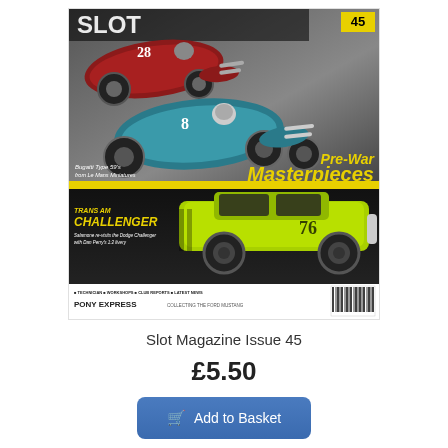[Figure (photo): Magazine cover of Slot Magazine Issue 45 featuring pre-war racing cars (red car #28 and blue car #8, Bugatti Type 59s from Le Mans Miniatures) at top, yellow-green Trans Am Challenger car #76 at bottom, with yellow 'Pre-War Masterpieces' headline text and 'TRANS AM CHALLENGER' text. Bottom bar shows 'PONY EXPRESS - Collecting the Ford Mustang' and navigation items.]
Slot Magazine Issue 45
£5.50
Add to Basket